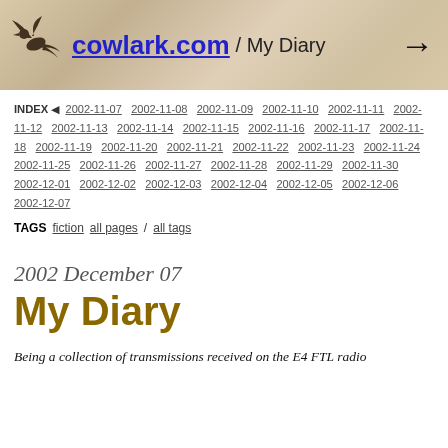cowlark.com / My Diary
INDEX ◀ 2002-11-07 2002-11-08 2002-11-09 2002-11-10 2002-11-11 2002-11-12 2002-11-13 2002-11-14 2002-11-15 2002-11-16 2002-11-17 2002-11-18 2002-11-19 2002-11-20 2002-11-21 2002-11-22 2002-11-23 2002-11-24 2002-11-25 2002-11-26 2002-11-27 2002-11-28 2002-11-29 2002-11-30 2002-12-01 2002-12-02 2002-12-03 2002-12-04 2002-12-05 2002-12-06 2002-12-07
TAGS fiction  all pages / all tags
2002 December 07
My Diary
Being a collection of transmissions received on the E4 FTL radio